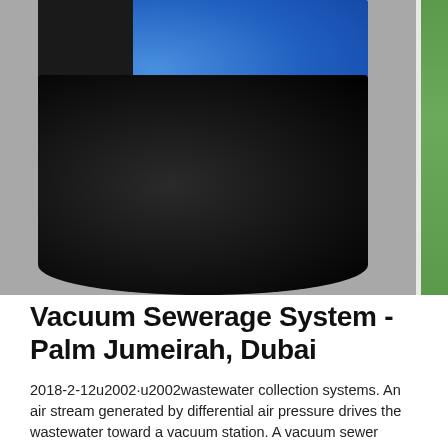[Figure (photo): Close-up photograph of a cylindrical industrial tank or vessel with a blue upper section and black lower section, set against a grey background with a green strip visible on the right edge.]
Vacuum Sewerage System - Palm Jumeirah, Dubai
2018-2-12u2002·u2002wastewater collection systems. An air stream generated by differential air pressure drives the wastewater toward a vacuum station. A vacuum sewer